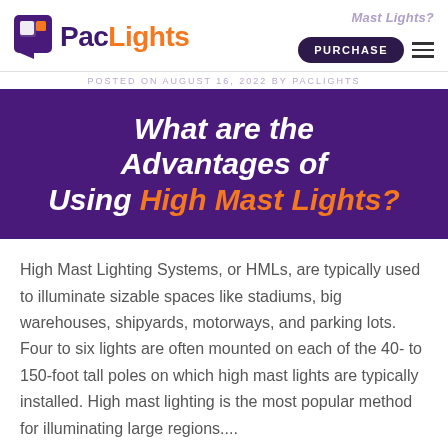PacLights — Mast Lights? PURCHASE
POSTED ON AUGUST 16, 2022 BY PACLIGHTS
What are the Advantages of Using High Mast Lights?
High Mast Lighting Systems, or HMLs, are typically used to illuminate sizable spaces like stadiums, big warehouses, shipyards, motorways, and parking lots. Four to six lights are often mounted on each of the 40- to 150-foot tall poles on which high mast lights are typically installed. High mast lighting is the most popular method for illuminating large regions....